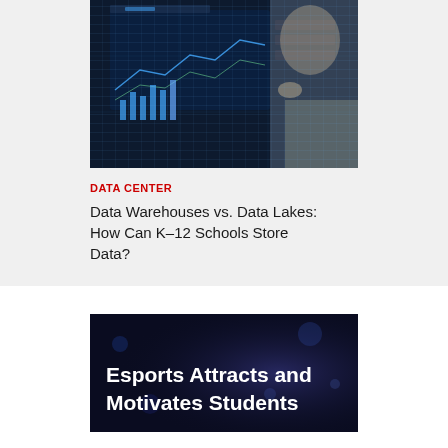[Figure (photo): Person thinking in front of digital data screens with charts and graphs]
DATA CENTER
Data Warehouses vs. Data Lakes: How Can K–12 Schools Store Data?
[Figure (photo): Dark blue esports background with text overlay reading 'Esports Attracts and Motivates Students']